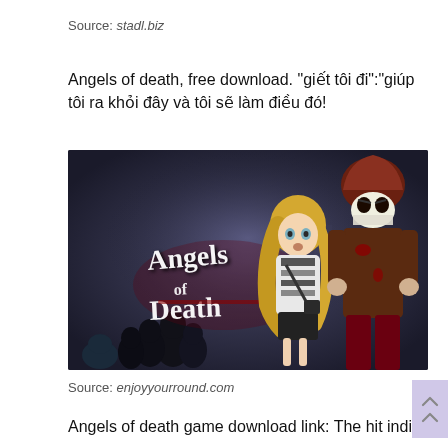Source: stadl.biz
Angels of death, free download. “giết tôi đi”:“giúp tôi ra khỏi đây và tôi sẽ làm điều đó!
[Figure (illustration): Angels of Death game cover art showing two anime characters - a blonde girl in striped shirt and a masked figure in brown jacket, with the game logo 'Angels of Death' in stylized text on a dark background with hooded figures]
Source: enjoyyourround.com
Angels of death game download link: The hit indie